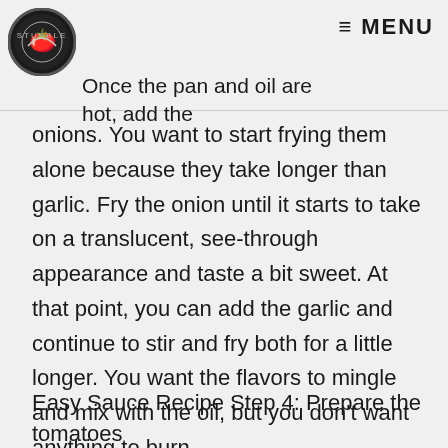Once the pan and oil are hot, add the
onions. You want to start frying them alone because they take longer than garlic. Fry the onion until it starts to take on a translucent, see-through appearance and taste a bit sweet. At that point, you can add the garlic and continue to stir and fry both for a little longer. You want the flavors to mingle and mix with the oil, but you don't want anything to burn.
Easy Sauce Recipe Step 4: Prepare the tomatoes